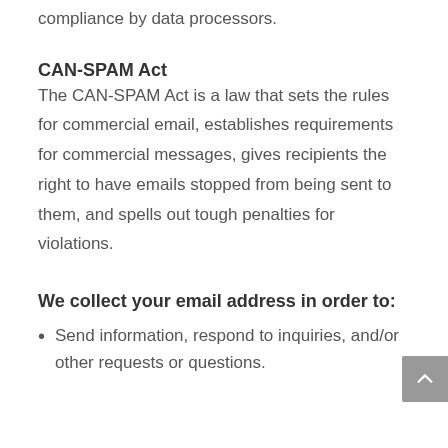compliance by data processors.
CAN-SPAM Act
The CAN-SPAM Act is a law that sets the rules for commercial email, establishes requirements for commercial messages, gives recipients the right to have emails stopped from being sent to them, and spells out tough penalties for violations.
We collect your email address in order to:
Send information, respond to inquiries, and/or other requests or questions.